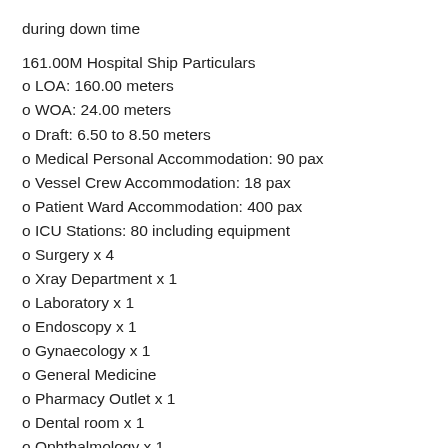during down time
161.00M Hospital Ship Particulars
o LOA: 160.00 meters
o WOA: 24.00 meters
o Draft: 6.50 to 8.50 meters
o Medical Personal Accommodation: 90 pax
o Vessel Crew Accommodation: 18 pax
o Patient Ward Accommodation: 400 pax
o ICU Stations: 80 including equipment
o Surgery x 4
o Xray Department x 1
o Laboratory x 1
o Endoscopy x 1
o Gynaecology x 1
o General Medicine
o Pharmacy Outlet x 1
o Dental room x 1
o Ophthalmology x 1